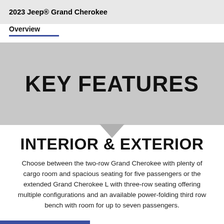2023 Jeep® Grand Cherokee
Overview
KEY FEATURES
INTERIOR & EXTERIOR
Choose between the two-row Grand Cherokee with plenty of cargo room and spacious seating for five passengers or the extended Grand Cherokee L with three-row seating offering multiple configurations and an available power-folding third row bench with room for up to seven passengers.